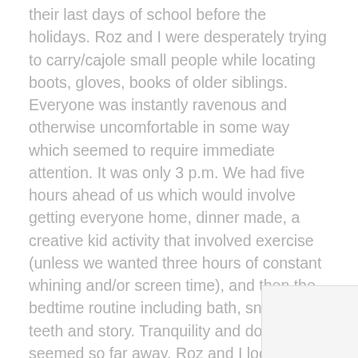their last days of school before the holidays. Roz and I were desperately trying to carry/cajole small people while locating boots, gloves, books of older siblings. Everyone was instantly ravenous and otherwise uncomfortable in some way which seemed to require immediate attention. It was only 3 p.m. We had five hours ahead of us which would involve getting everyone home, dinner made, a creative kid activity that involved exercise (unless we wanted three hours of constant whining and/or screen time), and then the bedtime routine including bath, snack, teeth and story. Tranquility and downtime seemed so far away. Roz and I looked at each other and both said simultaneously:“I can’t wait until 5 a.m.”
5 a.m. is when we meet to run. I discovered the